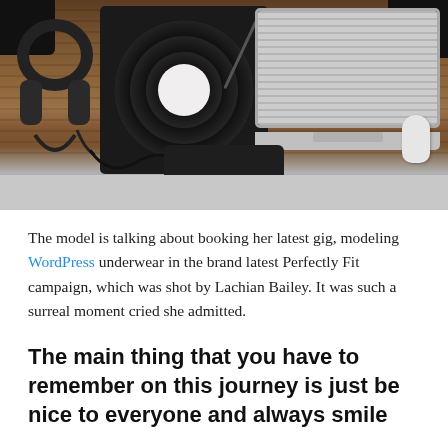[Figure (photo): Overhead flat-lay photo of a wooden desk with a vinyl record turntable, over-ear headphones with cable, an open laptop, a wireless mouse, two black speakers in top corners, and a black chair partially visible at the bottom center.]
The model is talking about booking her latest gig, modeling WordPress underwear in the brand latest Perfectly Fit campaign, which was shot by Lachian Bailey. It was such a surreal moment cried she admitted.
The main thing that you have to remember on this journey is just be nice to everyone and always smile